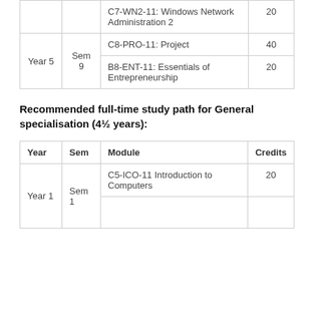| Year | Sem | Module | Credits |
| --- | --- | --- | --- |
|  |  | C7-WN2-11: Windows Network Administration 2 | 20 |
| Year 5 | Sem 9 | C8-PRO-11: Project | 40 |
|  |  | B8-ENT-11: Essentials of Entrepreneurship | 20 |
Recommended full-time study path for General specialisation (4½ years):
| Year | Sem | Module | Credits |
| --- | --- | --- | --- |
| Year 1 | Sem 1 | C5-ICO-11 Introduction to Computers | 20 |
|  |  |  |  |